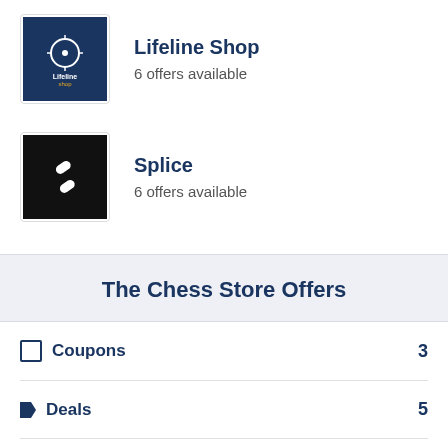[Figure (logo): Lifeline Shop logo - blue background with white circular icon and text]
Lifeline Shop
6 offers available
[Figure (logo): Splice logo - black background with white chain link S icon]
Splice
6 offers available
The Chess Store Offers
Coupons 3
Deals 5
Sales 3
Sign Up 1